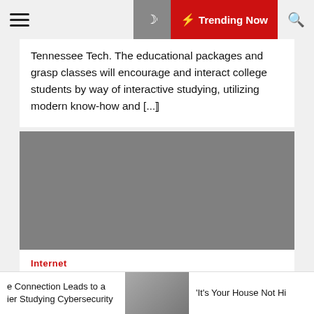Trending Now
Tennessee Tech. The educational packages and grasp classes will encourage and interact college students by way of interactive studying, utilizing modern know-how and [...]
[Figure (photo): Gray placeholder image for article about technology definition]
Internet
What Is The Greatest Definition Of Technology? Technology Is Changing Human Workers With Mechanical Or
e Connection Leads to a ier Studying Cybersecurity
[Figure (photo): Thumbnail image of two people, one in yellow top]
'It's Your House Not Hi